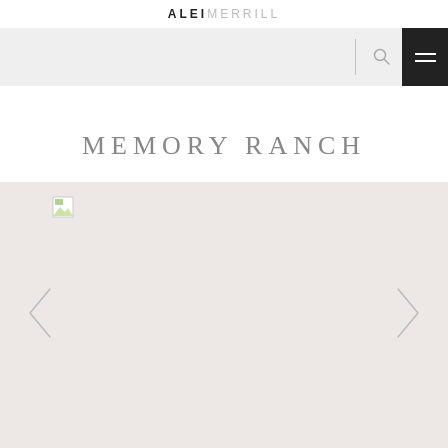ALEI MERRILL
MEMORY RANCH
[Figure (photo): Gallery slideshow area with a broken image placeholder in the top left, a left navigation arrow (chevron) on the left side, and a right navigation arrow (chevron) on the right side, all on a pale pinkish-beige background.]